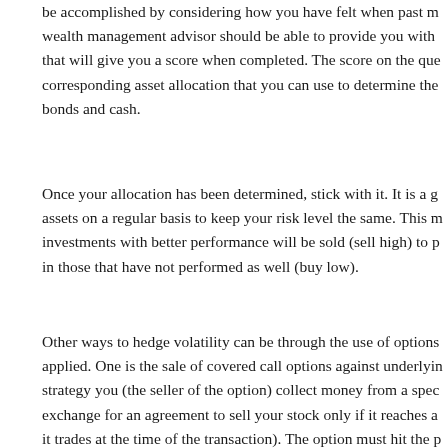be accomplished by considering how you have felt when past m wealth management advisor should be able to provide you with that will give you a score when completed. The score on the que corresponding asset allocation that you can use to determine the bonds and cash.
Once your allocation has been determined, stick with it. It is a g assets on a regular basis to keep your risk level the same. This m investments with better performance will be sold (sell high) to p in those that have not performed as well (buy low).
Other ways to hedge volatility can be through the use of options applied. One is the sale of covered call options against underlyin strategy you (the seller of the option) collect money from a spec exchange for an agreement to sell your stock only if it reaches a it trades at the time of the transaction). The option must hit the p predetermined time frame (expiration date). If it does not, the co paid and are free to sell more options against that stock position